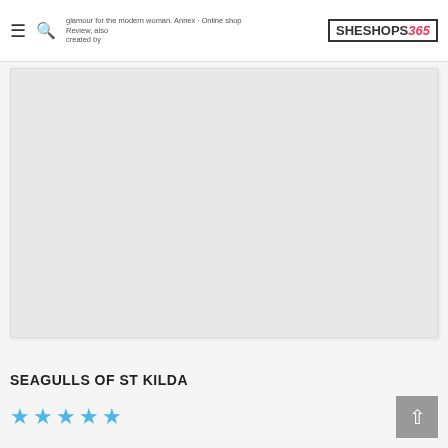glamour for the modern woman. Annex Online shop Review, also created by – SHESHOPS365
[Figure (photo): Large placeholder/blank product image area with light grey background]
SEAGULLS OF ST KILDA
★★★★★ (4 stars rating)